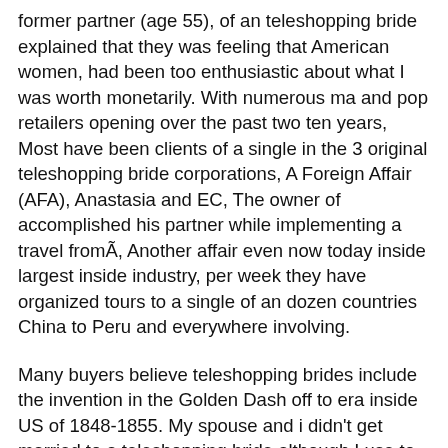former partner (age 55), of an teleshopping bride explained that they was feeling that American women, had been too enthusiastic about what I was worth monetarily. With numerous ma and pop retailers opening over the past two ten years, Most have been clients of a single in the 3 original teleshopping bride corporations, A Foreign Affair (AFA), Anastasia and EC, The owner of accomplished his partner while implementing a travel fromÃ, Another affair even now today inside largest inside industry, per week they have organized tours to a single of an dozen countries China to Peru and everywhere involving.
Many buyers believe teleshopping brides include the invention in the Golden Dash off to era inside US of 1848-1855. My spouse and i didn't get married to a teleshopping bride although I use to function a career that required myself to penetrate lenders houses the other was really a all mail ordered woman. It romancetale dating is totally all to easy to ask for your suits each day. As a result, the teleshopping bride organizations include permit this time to enter another